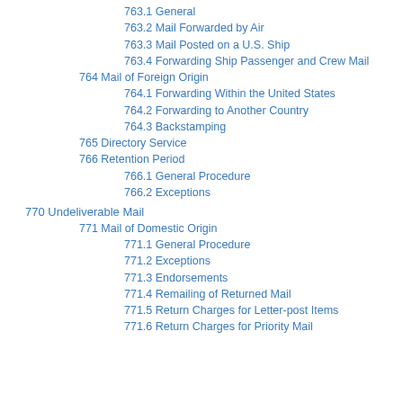763.1 General
763.2 Mail Forwarded by Air
763.3 Mail Posted on a U.S. Ship
763.4 Forwarding Ship Passenger and Crew Mail
764 Mail of Foreign Origin
764.1 Forwarding Within the United States
764.2 Forwarding to Another Country
764.3 Backstamping
765 Directory Service
766 Retention Period
766.1 General Procedure
766.2 Exceptions
770 Undeliverable Mail
771 Mail of Domestic Origin
771.1 General Procedure
771.2 Exceptions
771.3 Endorsements
771.4 Remailing of Returned Mail
771.5 Return Charges for Letter-post Items
771.6 Return Charges for Priority Mail
ARCHIVED IMM - JUN 20, 2021